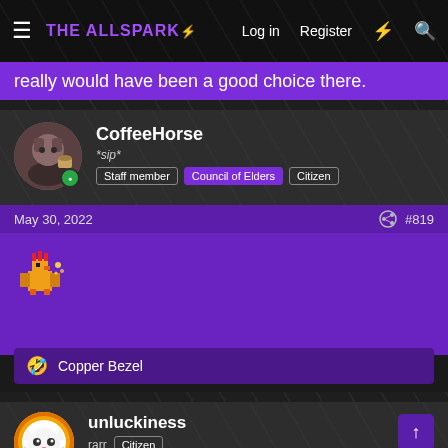THE ALLSPARK | Log in | Register
really would have been a good choice there.
CoffeeHorse
*sip* Staff member | Council of Elders | Citizen
May 30, 2022  #819
[Figure (illustration): Pixel art chick/chicken emoji]
🤣 Copper Bezel
unluckiness
rarr  Citizen
May 31, 2022  #820